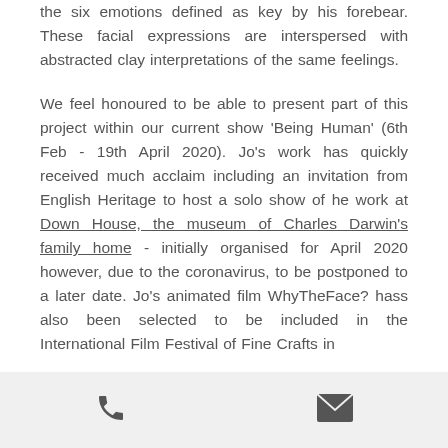the six emotions defined as key by his forebear. These facial expressions are interspersed with abstracted clay interpretations of the same feelings.
We feel honoured to be able to present part of this project within our current show 'Being Human' (6th Feb - 19th April 2020). Jo's work has quickly received much acclaim including an invitation from English Heritage to host a solo show of he work at Down House, the museum of Charles Darwin's family home - initially organised for April 2020 however, due to the coronavirus, to be postponed to a later date. Jo's animated film WhyTheFace? hass also been selected to be included in the International Film Festival of Fine Crafts in
phone icon | email icon